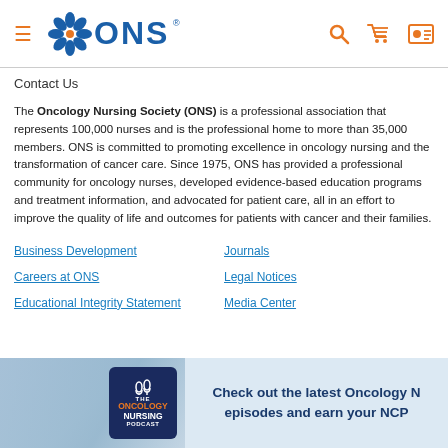[Figure (logo): ONS (Oncology Nursing Society) website header with logo, hamburger menu, search, cart, and profile icons]
Contact Us
The Oncology Nursing Society (ONS) is a professional association that represents 100,000 nurses and is the professional home to more than 35,000 members. ONS is committed to promoting excellence in oncology nursing and the transformation of cancer care. Since 1975, ONS has provided a professional community for oncology nurses, developed evidence-based education programs and treatment information, and advocated for patient care, all in an effort to improve the quality of life and outcomes for patients with cancer and their families.
Business Development
Journals
Careers at ONS
Legal Notices
Educational Integrity Statement
Media Center
[Figure (illustration): Banner showing The Oncology Nursing Podcast badge on a phone with text: Check out the latest Oncology N... episodes and earn your NCP...]